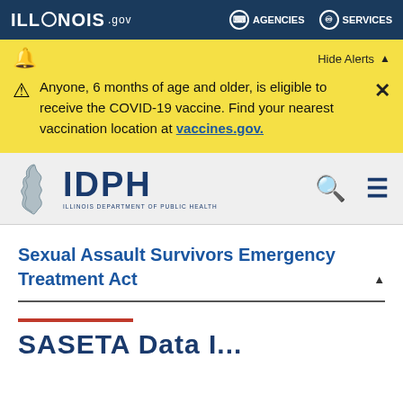ILLINOIS.gov | AGENCIES | SERVICES
Anyone, 6 months of age and older, is eligible to receive the COVID-19 vaccine. Find your nearest vaccination location at vaccines.gov.
[Figure (logo): IDPH Illinois Department of Public Health logo with Illinois state map silhouette]
Sexual Assault Survivors Emergency Treatment Act
SASETA Data I...